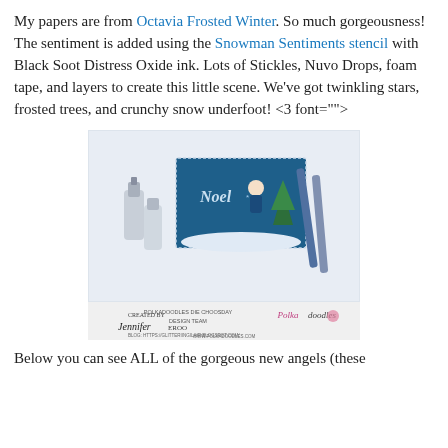My papers are from Octavia Frosted Winter. So much gorgeousness! The sentiment is added using the Snowman Sentiments stencil with Black Soot Distress Oxide ink. Lots of Stickles, Nuvo Drops, foam tape, and layers to create this little scene. We've got twinkling stars, frosted trees, and crunchy snow underfoot! <3 font="">
[Figure (photo): A craft card project photo showing a handmade Christmas card with 'Noel' written on it featuring a girl figure near a Christmas tree, surrounded by glitter bottles and Copic markers on a light surface. Bottom banner reads: Created by Jennifer Eroo, Polkadoodles Die Choosday Design Team, www.polkadoodles.com]
Below you can see ALL of the gorgeous new angels (these